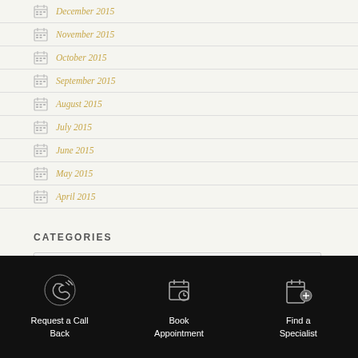December 2015
November 2015
October 2015
September 2015
August 2015
July 2015
June 2015
May 2015
April 2015
CATEGORIES
Select Category
Request a Call Back | Book Appointment | Find a Specialist